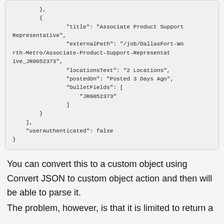[Figure (screenshot): Code block showing JSON snippet with fields: title, externalPath, locationsText, postedOn, bulletFields, and closing brackets, plus userAuthenticated: false]
You can convert this to a custom object using Convert JSON to custom object action and then will be able to parse it.
The problem, however, is that it is limited to return a